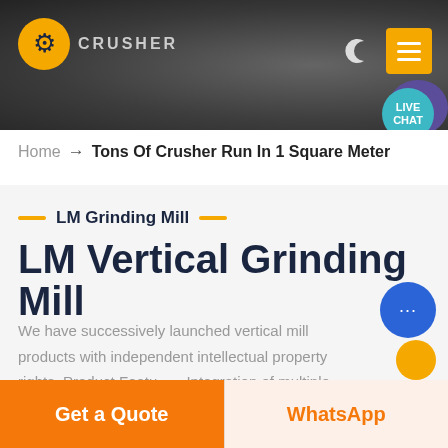[Figure (screenshot): Website header banner with dark industrial/rock background showing crusher machinery, orange logo icon on left, site name text, moon icon and orange hamburger menu button on right, teal live chat bubble with purple speech bubble in top-right area]
Home → Tons Of Crusher Run In 1 Square Meter
LM Grinding Mill
LM Vertical Grinding Mill
We have successively launched vertical mill products with independent intellectual property rights. Product Features: Integration of multiple functions, more stable and reliable production and more excellent capacity